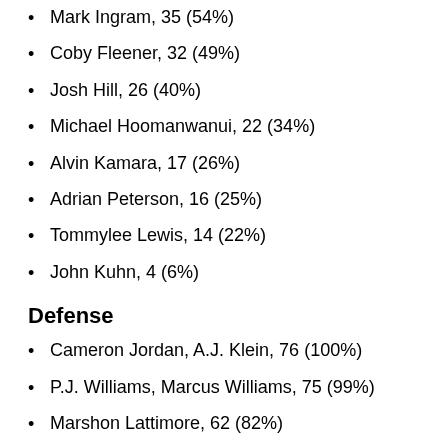Mark Ingram, 35 (54%)
Coby Fleener, 32 (49%)
Josh Hill, 26 (40%)
Michael Hoomanwanui, 22 (34%)
Alvin Kamara, 17 (26%)
Adrian Peterson, 16 (25%)
Tommylee Lewis, 14 (22%)
John Kuhn, 4 (6%)
Defense
Cameron Jordan, A.J. Klein, 76 (100%)
P.J. Williams, Marcus Williams, 75 (99%)
Marshon Lattimore, 62 (82%)